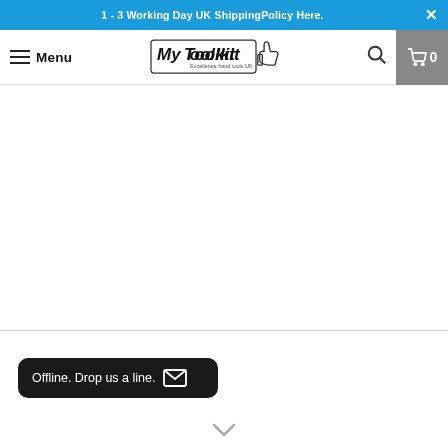1 - 3 Working Day UK ShippingPolicy Here.
[Figure (logo): MyToolkit.com logo with stylized text and thumbs-up hand icon]
Offline. Drop us a line.